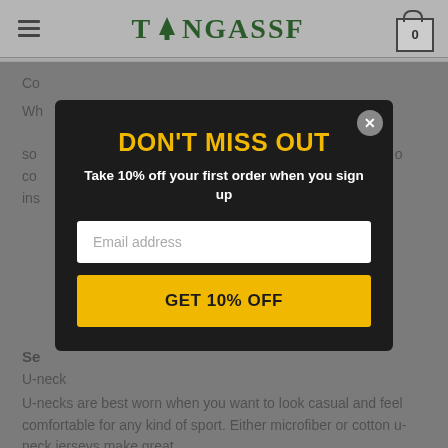TONGASSF — navigation bar with hamburger menu and cart icon showing 0
Co...
Wh... the... of so... o co... ins...
[Figure (screenshot): Modal popup with dark background. Title: DON'T MISS OUT (in gold/yellow). Subtitle: Take 10% off your first order when you sign up. Email address input field. GET 10% OFF yellow button. Close (X) button in top-right corner.]
Se...
U-neck
U-necks are best worn when you want to look casual and feel comfortable for any kind of sport. Either microfiber or cotton u-neck jerseys make great